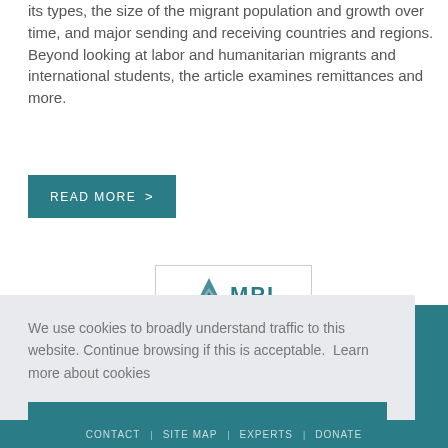its types, the size of the migrant population and growth over time, and major sending and receiving countries and regions. Beyond looking at labor and humanitarian migrants and international students, the article examines remittances and more.
READ MORE >
[Figure (logo): MPI (Migration Policy Institute) logo with geometric icon and bold teal letters]
We use cookies to broadly understand traffic to this website. Continue browsing if this is acceptable.  Learn more about cookies
I understand
CONTACT | SITE MAP | EXPERTS | DONATE